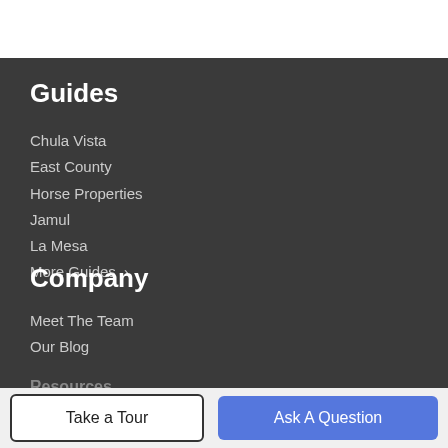Guides
Chula Vista
East County
Horse Properties
Jamul
La Mesa
More Guides >
Company
Meet The Team
Our Blog
Resources
Take a Tour
Ask A Question